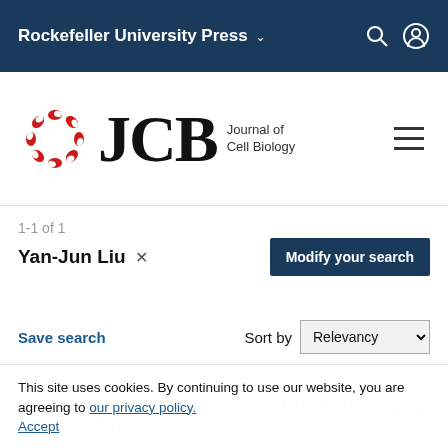Rockefeller University Press
[Figure (logo): JCB Journal of Cell Biology logo with red circular molecular symbol]
1-1 of 1
Yan-Jun Liu ×
Modify your search
Save search
Sort by Relevancy
JOURNAL ARTICLES
Cell migration orchestrates migrasome formation by shaping retraction fibers
In Special Collection:
This site uses cookies. By continuing to use our website, you are agreeing to our privacy policy. Accept